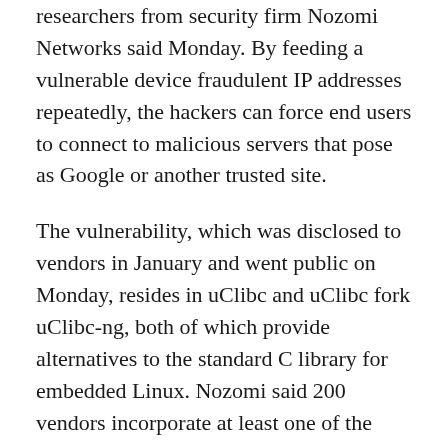researchers from security firm Nozomi Networks said Monday. By feeding a vulnerable device fraudulent IP addresses repeatedly, the hackers can force end users to connect to malicious servers that pose as Google or another trusted site.
The vulnerability, which was disclosed to vendors in January and went public on Monday, resides in uClibc and uClibc fork uClibc-ng, both of which provide alternatives to the standard C library for embedded Linux. Nozomi said 200 vendors incorporate at least one of the libraries into wares that, according to the uClibc-ng maintainer, include the following:
The vulnerability and the lack of a patch underscore a problem with third-party code libraries that has gotten worse over the past decade. Many of them—even those like the OpenSSL cryptography library that are widely used to provide crucial security functions—face funding crunches that make the